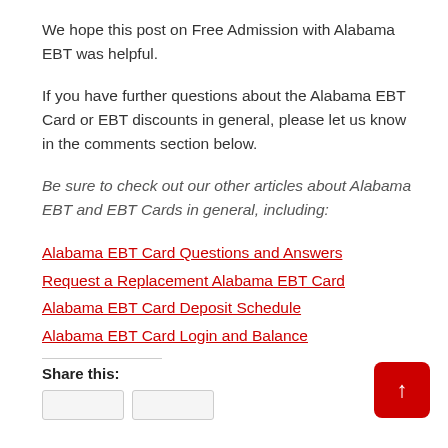We hope this post on Free Admission with Alabama EBT was helpful.
If you have further questions about the Alabama EBT Card or EBT discounts in general, please let us know in the comments section below.
Be sure to check out our other articles about Alabama EBT and EBT Cards in general, including:
Alabama EBT Card Questions and Answers
Request a Replacement Alabama EBT Card
Alabama EBT Card Deposit Schedule
Alabama EBT Card Login and Balance
Share this: